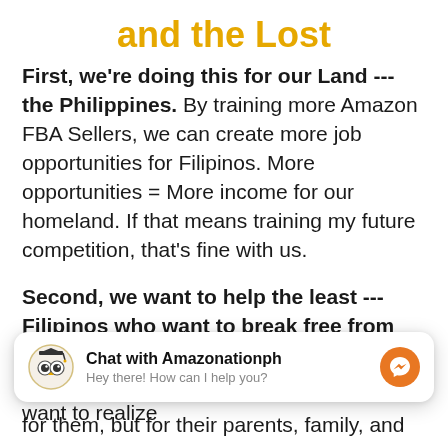and the Lost
First, we're doing this for our Land --- the Philippines. By training more Amazon FBA Sellers, we can create more job opportunities for Filipinos. More opportunities = More income for our homeland. If that means training my future competition, that's fine with us.
Second, we want to help the least --- Filipinos who want to break free from their 8-5 local and overseas jobs. I want to help local employees and OFWs who want to realize
[Figure (screenshot): Chat widget overlay showing owl logo, 'Chat with Amazonationph', 'Hey there! How can I help you?' text, and orange Messenger button]
for them, but for their parents, family, and